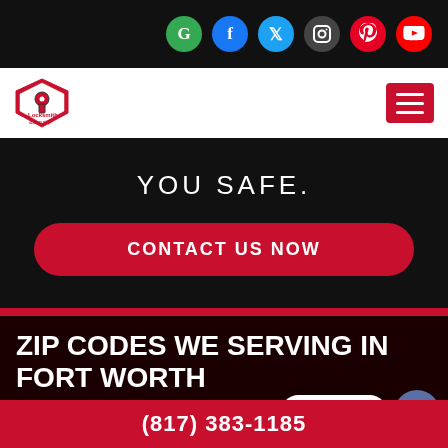[Figure (screenshot): Social media icon bar with Google, Facebook, Twitter, Instagram, Pinterest, YouTube icons]
[Figure (logo): Locksmith & Security logo with shield icon]
YOU SAFE.
CONTACT US NOW
ZIP CODES WE SERVING IN FORT WORTH
Locksmith 76102
Locksmith [partial]
Locksmith [partial]
Locksmith 76114
Locksmith 76133 [partial]
Locksmith [partial]
Locksmith 76115
Locksmith [partial]
(817) 383-1185